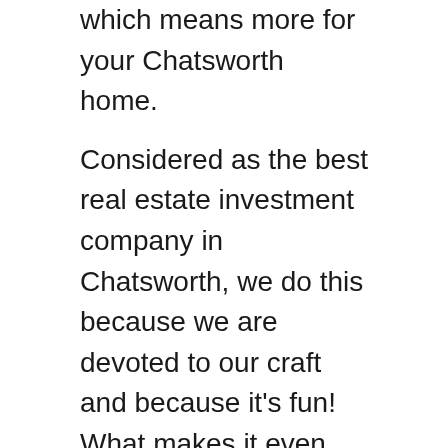which means more for your Chatsworth home.
Considered as the best real estate investment company in Chatsworth, we do this because we are devoted to our craft and because it's fun! What makes it even better for us is that we can help those in need, and those who need a quick solution to their financial problems. Are you curious about how much your Chatsworth home is worth? Let us help you, fill